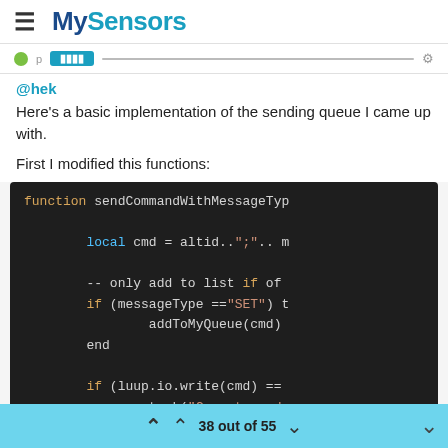MySensors
@hek
Here's a basic implementation of the sending queue I came up with.
First I modified this functions:
[Figure (screenshot): Dark-themed code editor screenshot showing Lua code: function sendCommandWithMessageTyp... with local cmd = altid..";".. m, -- only add to list if of, if (messageType =="SET") t, addToMyQueue(cmd), end, if (luup.io.write(cmd) ==, task("Cannot send, luup.set_failure(t]
38 out of 55